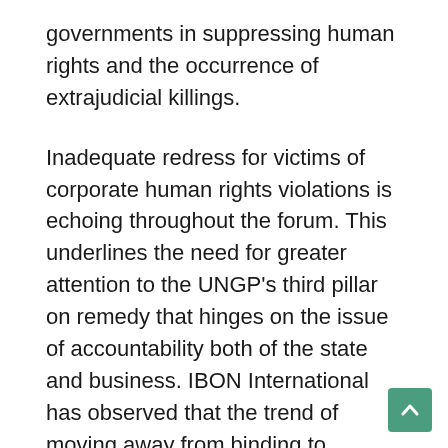governments in suppressing human rights and the occurrence of extrajudicial killings.
Inadequate redress for victims of corporate human rights violations is echoing throughout the forum. This underlines the need for greater attention to the UNGP's third pillar on remedy that hinges on the issue of accountability both of the state and business. IBON International has observed that the trend of moving away from binding to voluntary frameworks undermines the accountability of actors and effective enforcement as well as limits the tangible gains for the people.
IBON thus calls on the strengthening of the accountability aspect of the UNGP by ensuring the